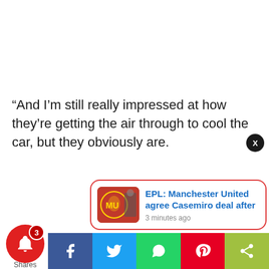“And I’m still really impressed at how they’re getting the air through to cool the car, but they obviously are.
[Figure (screenshot): A mobile web page screenshot showing a pull quote, social sharing bar at bottom, notification bell with badge showing 3, and a news notification card with Manchester United Casemiro deal headline.]